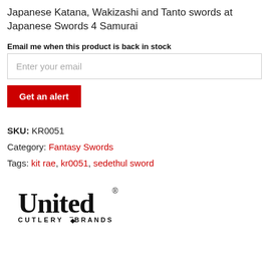Japanese Katana, Wakizashi and Tanto swords at Japanese Swords 4 Samurai
Email me when this product is back in stock
SKU: KR0051
Category: Fantasy Swords
Tags: kit rae, kr0051, sedethul sword
[Figure (logo): United Cutlery Brands logo — black text with 'United' in large serif font, 'CUTLERY BRANDS' in smaller text below, with a registered trademark symbol]